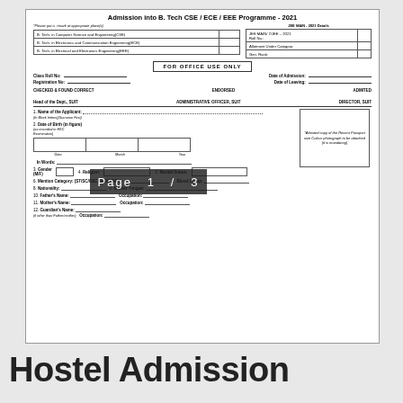Admission into B. Tech CSE / ECE / EEE Programme - 2021
| Programme | Check |
| --- | --- |
| B. Tech. in Computer Science and Engineering(CSE) |  |
| B. Tech. in Electronics and Communication Engineering(ECE) |  |
| B. Tech. in Electrical and Electronics Engineering(EEE) |  |
| JEE MAIN - 2021 Details |  |
| --- | --- |
| JEE MAIN/ OJEE - 2021 Roll No. |  |
| Allotment Under Category: |  |
| Gen. Rank: |  |
FOR OFFICE USE ONLY
Class Roll No: _______________    Date of Admission: _______________
Registration No: _______________   Date of Leaving: _______________
CHECKED & FOUND CORRECT    ENDORSED    ADMITED
Head of the Dept., SUIT    ADMINISTRATIVE OFFICER, SUIT    DIRECTOR, SUIT
1. Name of the Applicant: .......................................................
(In Block letters)(Surname First)
2. Date of Birth (in figure) (as recorded in HSC Examination)
Date    Month    Year
In Words:
3. Gender (M/F)    4. Religion:    5. Marital Status:
6. Mention Category: (ST/SC/OBC/SEBC/GEN): _____________    7. Blood Group: ___________
8. Nationality: _______________    9. Mother Tongue: _______________
10. Father's Name: _______________    Occupation: _______________
11. Mother's Name: _______________    Occupation: _______________
12. Guardian's Name: _______________
(if other than Father/mother)    Occupation: _______________
*Attested copy of the Recent Passport size Colour photograph to be attached (it is mandatory)
Page 1 / 3
Hostel Admission